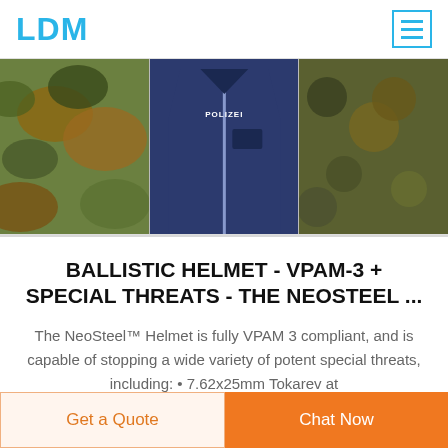LDM
[Figure (photo): Three product images: camouflage fabric on left, navy blue police jacket in center, camouflage netting on right]
BALLISTIC HELMET - VPAM-3 + SPECIAL THREATS - THE NEOSTEEL ...
The NeoSteel™ Helmet is fully VPAM 3 compliant, and is capable of stopping a wide variety of potent special threats, including: • 7.62x25mm Tokarev at
Get a Quote
Chat Now